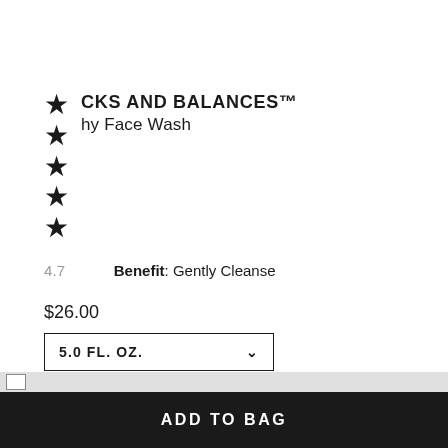CKS AND BALANCES™
hy Face Wash
4.7
Benefit: Gently Cleanse
$26.00
5.0 FL. OZ.
ADD TO BAG
Product Details
ADD TO BAG